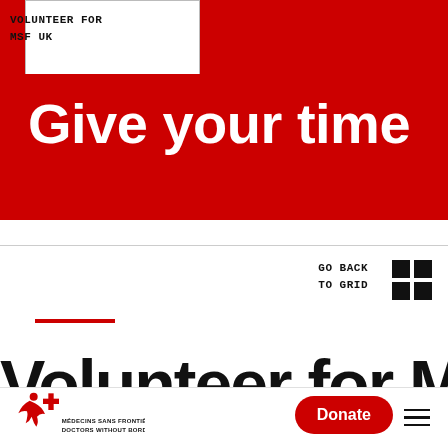< Give your time
Give your time
VOLUNTEER FOR MSF UK
GO BACK TO GRID
Volunteer for MSF
[Figure (logo): MSF (Médecins Sans Frontières / Doctors Without Borders) logo with running figure and text]
Donate
Donate | navigation menu